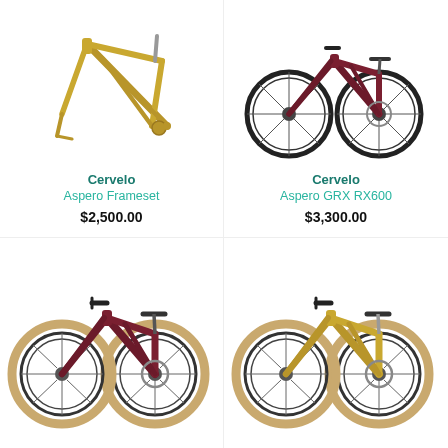[Figure (photo): Cervelo Aspero Frameset - gold/olive colored bicycle frame (no wheels) on white background]
Cervelo
Aspero Frameset
$2,500.00
[Figure (photo): Cervelo Aspero GRX RX600 - dark burgundy/maroon complete gravel bicycle on white background]
Cervelo
Aspero GRX RX600
$3,300.00
[Figure (photo): Cervelo gravel bike - dark maroon/burgundy complete bicycle with tan tires, lower left]
[Figure (photo): Cervelo gravel bike - gold/olive complete bicycle with tan tires, lower right]